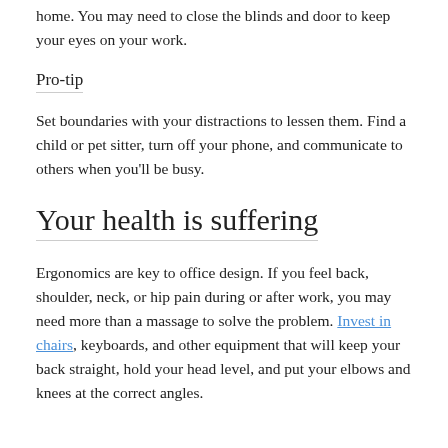home. You may need to close the blinds and door to keep your eyes on your work.
Pro-tip
Set boundaries with your distractions to lessen them. Find a child or pet sitter, turn off your phone, and communicate to others when you'll be busy.
Your health is suffering
Ergonomics are key to office design. If you feel back, shoulder, neck, or hip pain during or after work, you may need more than a massage to solve the problem. Invest in chairs, keyboards, and other equipment that will keep your back straight, hold your head level, and put your elbows and knees at the correct angles.